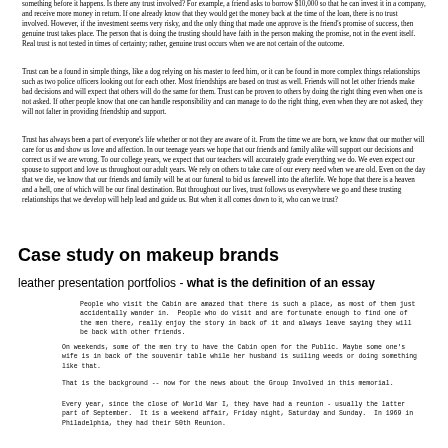something before it happens. Is there any trust involved? For example, a friend asks to borrow $10,000 so that he can invest it in a company, and receive more money in return. If one already know that they would get the money back at the time of the loan, there is no trust involved. However, if the investment seems very risky, and the only thing that made one approve is the friend's promise of success, then genuine trust takes place. The person that is doing the trusting should have faith in the person making the promise, not in the event itself. Real trust is not tested in times of certainty; rather, genuine trust occurs when we are not certain of the outcome.
Trust can be a found in simple things, like a dog relying on his master to feed him, or it can be found in more complex things relationships such as two police officers looking out for each other. Most friendships are based on trust as well. Friends will not let other friends make bad decisions and will expect that others will do the same for them. Trust can be proven to others by doing the right thing even when one is not asked. If other people know that one can handle responsibility and can manage to do the right thing, even when they are not asked, they will not falter in providing friendship and support.
Trust has always been a part of everyone's life whether or not they are aware of it. From the time we are born, we know that our mother will care for us and show us love and affection. In our teenage years we hope that our friends and family alike will support our decisions and correct us if we are wrong. To our college years, we expect that our teachers will accurately grade everything we do. We even expect our spouse to support and love us throughout our adult years. We rely on others to take care of our every need when we are old. Even on the day that we die, we know that our friends and family will be at our funeral to bid us farewell into the afterlife. We hope that there is a heaven and a hell, one of which will be our final destination. But throughout our lives, trust follows us everywhere we go and these trusting relationships that we develop will help lead and guide us. But when it all comes down to it, who can we trust?
Case study on makeup brands
leather presentation portfolios - what is the definition of an essay
People who visit the Cabin are amazed that there is such a place, as most of them just accidentally wander in. People who do visit and are fortunate enough to find one of the men there, really enjoy the story in back of it and always leave saying they will be back with other friends.
On weekends, some of the men try to have the Cabin open for the Public. Maybe some one's wife is in back of the souvenir table while her husband is selling weeds or doing something like that.
That is the background -- now for the news about the Group Involved in this memorial.
Every year, since the close of World War I, they have had a reunion - usually the latter part of September. It is a weekend affair, Friday night, Saturday and Sunday. In 1969 in Philadelphia, they had their 50th Reunion.